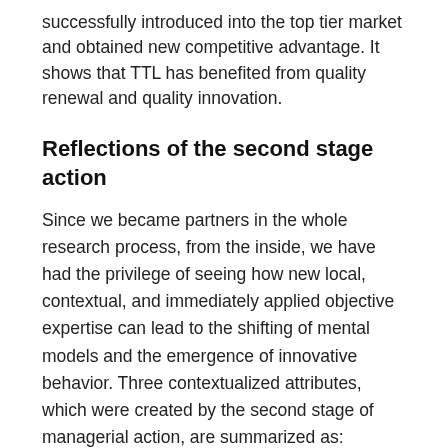successfully introduced into the top tier market and obtained new competitive advantage. It shows that TTL has benefited from quality renewal and quality innovation.
Reflections of the second stage action
Since we became partners in the whole research process, from the inside, we have had the privilege of seeing how new local, contextual, and immediately applied objective expertise can lead to the shifting of mental models and the emergence of innovative behavior. Three contextualized attributes, which were created by the second stage of managerial action, are summarized as: